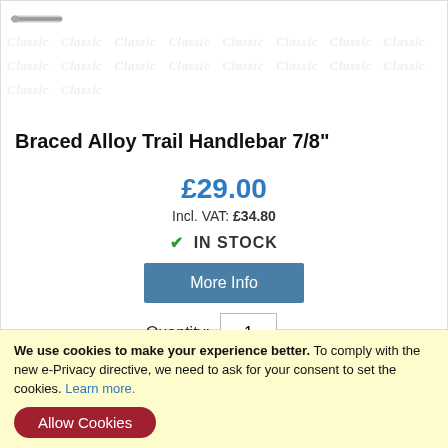[Figure (photo): Partial image of a metal handlebar component against a white background with watermark pattern]
Braced Alloy Trail Handlebar 7/8"
£29.00
Incl. VAT: £34.80
✔ IN STOCK
More Info
Quantity: 1
Add To Basket
We use cookies to make your experience better. To comply with the new e-Privacy directive, we need to ask for your consent to set the cookies. Learn more.
Allow Cookies